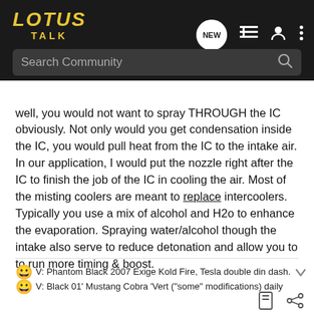LOTUS TALK
well, you would not want to spray THROUGH the IC obviously. Not only would you get condensation inside the IC, you would pull heat from the IC to the intake air. In our application, I would put the nozzle right after the IC to finish the job of the IC in cooling the air. Most of the misting coolers are meant to replace intercoolers. Typically you use a mix of alcohol and H2o to enhance the evaporation. Spraying water/alcohol though the intake also serve to reduce detonation and allow you to to run more timing & boost.
V: Phantom Black 2007 Exige Kold Fire, Tesla double din dash.
V: Black 01' Mustang Cobra 'Vert ("some" modifications) daily